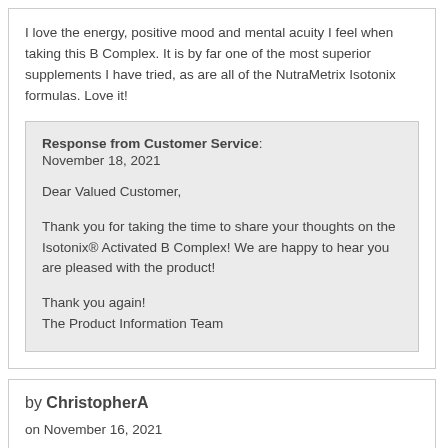I love the energy, positive mood and mental acuity I feel when taking this B Complex. It is by far one of the most superior supplements I have tried, as are all of the NutraMetrix Isotonix formulas. Love it!
Response from Customer Service: November 18, 2021

Dear Valued Customer,

Thank you for taking the time to share your thoughts on the Isotonix® Activated B Complex! We are happy to hear you are pleased with the product!

Thank you again!
The Product Information Team
by ChristopherA

on November 16, 2021